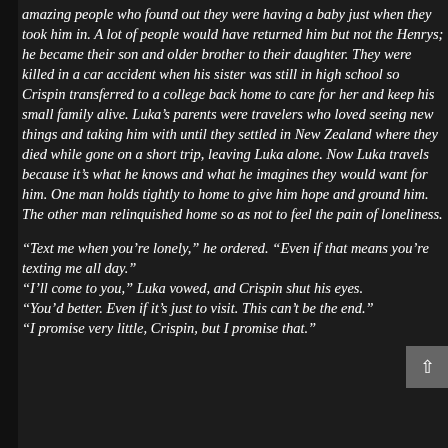amazing people who found out they were having a baby just when they took him in. A lot of people would have returned him but not the Henrys; he became their son and older brother to their daughter. They were killed in a car accident when his sister was still in high school so Crispin transferred to a college back home to care for her and keep his small family alive. Luka's parents were travelers who loved seeing new things and taking him with until they settled in New Zealand where they died while gone on a short trip, leaving Luka alone. Now Luka travels because it's what he knows and what he imagines they would want for him. One man holds tightly to home to give him hope and ground him. The other man relinquished home so as not to feel the pain of loneliness.
“Text me when you’re lonely,” he ordered. “Even if that means you’re texting me all day.”
“I’ll come to you,” Luka vowed, and Crispin shut his eyes.
“You’d better. Even if it’s just to visit. This can’t be the end.”
“I promise very little, Crispin, but I promise that.”